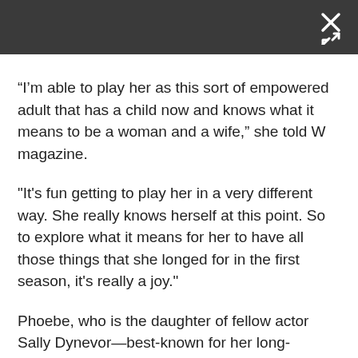[dark toolbar with close/expand icon]
“I’m able to play her as this sort of empowered adult that has a child now and knows what it means to be a woman and a wife,” she told W magazine.
"It's fun getting to play her in a very different way. She really knows herself at this point. So to explore what it means for her to have all those things that she longed for in the first season, it's really a joy."
Phoebe, who is the daughter of fellow actor Sally Dynevor—best-known for her long-running role as Sally Webster in